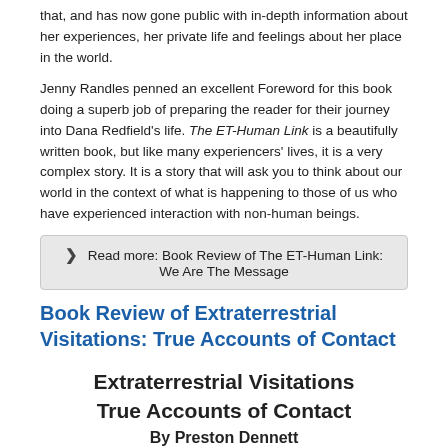that, and has now gone public with in-depth information about her experiences, her private life and feelings about her place in the world.
Jenny Randles penned an excellent Foreword for this book doing a superb job of preparing the reader for their journey into Dana Redfield’s life. The ET-Human Link is a beautifully written book, but like many experiencers’ lives, it is a very complex story. It is a story that will ask you to think about our world in the context of what is happening to those of us who have experienced interaction with non-human beings.
❯  Read more: Book Review of The ET-Human Link: We Are The Message
Book Review of Extraterrestrial Visitations: True Accounts of Contact
Extraterrestrial Visitations True Accounts of Contact
By Preston Dennett